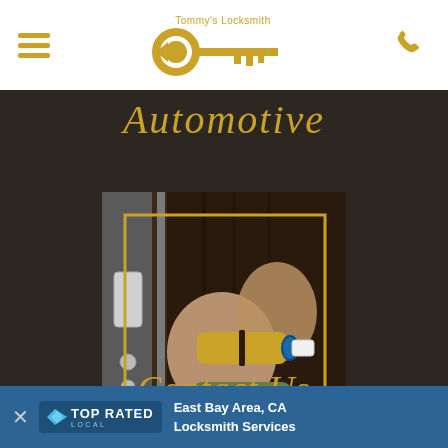Tommy's Locksmith — navigation header with logo and phone icon
Automotive
[Figure (photo): Hands of a locksmith working on a door lock cylinder, with a golden key inserted; a silver door frame visible on the left; golden border overlay on image]
Contact Us
East Bay Area, CA Locksmith Services — TOP RATED LOCAL banner